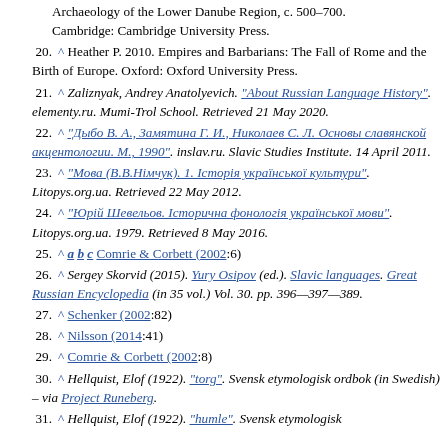Archaeology of the Lower Danube Region, c. 500–700. Cambridge: Cambridge University Press.
20. ^ Heather P. 2010. Empires and Barbarians: The Fall of Rome and the Birth of Europe. Oxford: Oxford University Press.
21. ^ Zaliznyak, Andrey Anatolyevich. "About Russian Language History". elementy.ru. Mumi-Trol School. Retrieved 21 May 2020.
22. ^ "Дыбо В. А., Замятина Г. И., Николаев С. Л. Основы славянской акцентологии. М., 1990". inslav.ru. Slavic Studies Institute. 14 April 2011.
23. ^ "Мова (В.В.Німчук). 1. Історія української культури". Litopys.org.ua. Retrieved 22 May 2012.
24. ^ "Юрій Шевельов. Історична фонологія української мови". Litopys.org.ua. 1979. Retrieved 8 May 2016.
25. ^ a b c Comrie & Corbett (2002:6)
26. ^ Sergey Skorvid (2015). Yury Osipov (ed.). Slavic languages. Great Russian Encyclopedia (in 35 vol.) Vol. 30. pp. 396—397—389.
27. ^ Schenker (2002:82)
28. ^ Nilsson (2014:41)
29. ^ Comrie & Corbett (2002:8)
30. ^ Hellquist, Elof (1922). "torg". Svensk etymologisk ordbok (in Swedish) – via Project Runeberg.
31. ^ Hellquist, Elof (1922). "humle". Svensk etymologisk